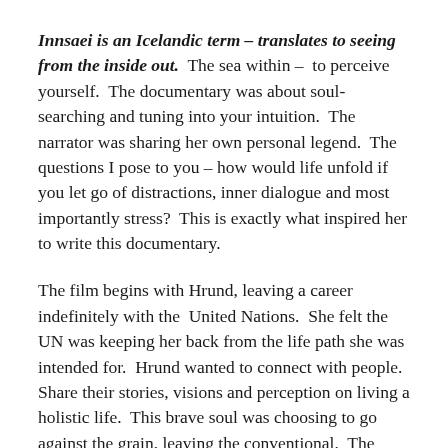Innsaei is an Icelandic term – translates to seeing from the inside out. The sea within – to perceive yourself. The documentary was about soul-searching and tuning into your intuition. The narrator was sharing her own personal legend. The questions I pose to you – how would life unfold if you let go of distractions, inner dialogue and most importantly stress? This is exactly what inspired her to write this documentary.
The film begins with Hrund, leaving a career indefinitely with the United Nations. She felt the UN was keeping her back from the life path she was intended for. Hrund wanted to connect with people. Share their stories, visions and perception on living a holistic life. This brave soul was choosing to go against the grain, leaving the conventional. The documentary intertwines